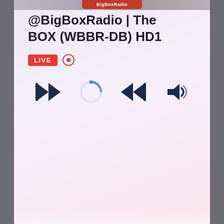[Figure (screenshot): Radio player card UI showing station name '@BigBoxRadio | The BOX (WBBR-DB) HD1', a LIVE badge with record button, and media control icons (skip back, loading spinner, skip forward, volume).]
K104
You can listen to hip hop and rap radio stations online through several sources. K104 rap radio online is a great option for those who enjoy hip hop music. You can find a variety of music genres on this station's website. You can hear interviews with megastars, stream songs, or browse playlists. If you are looking for a mix of